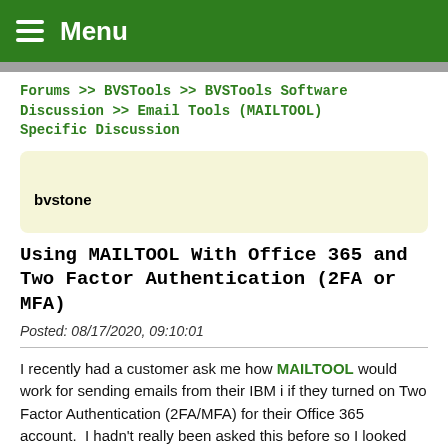Menu
Forums >> BVSTools >> BVSTools Software Discussion >> Email Tools (MAILTOOL) Specific Discussion
bvstone
Using MAILTOOL With Office 365 and Two Factor Authentication (2FA or MFA)
Posted: 08/17/2020, 09:10:01
I recently had a customer ask me how MAILTOOL would work for sending emails from their IBM i if they turned on Two Factor Authentication (2FA/MFA) for their Office 365 account.  I hadn't really been asked this before so I looked into it, and turned it on in my personal account to test.
Setting Up MFA For Offic...